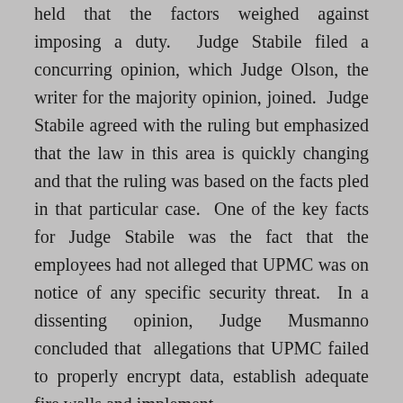held that the factors weighed against imposing a duty. Judge Stabile filed a concurring opinion, which Judge Olson, the writer for the majority opinion, joined. Judge Stabile agreed with the ruling but emphasized that the law in this area is quickly changing and that the ruling was based on the facts pled in that particular case. One of the key facts for Judge Stabile was the fact that the employees had not alleged that UPMC was on notice of any specific security threat. In a dissenting opinion, Judge Musmanno concluded that allegations that UPMC failed to properly encrypt data, establish adequate fire walls and implement